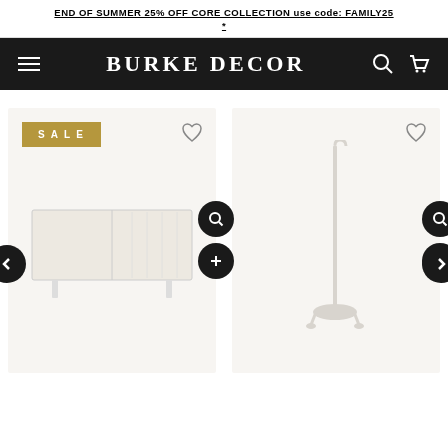END OF SUMMER 25% OFF CORE COLLECTION use code: FAMILY25 *
BURKE DECOR
[Figure (photo): Product card showing Carmel Sideboard with SALE badge, heart icon, zoom and add buttons, with a navigation left arrow]
[Figure (photo): Product card showing Plain Freestanding Coat rack with heart icon, zoom and add buttons, with a navigation right arrow]
Carmel Sideboard in Various Colors
Plain Freestanding Coat